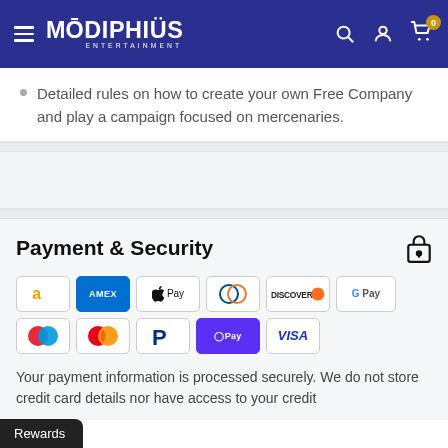Modiphius Entertainment — navigation header with logo, search, account, and cart icons
Detailed rules on how to create your own Free Company and play a campaign focused on mercenaries.
Payment & Security
[Figure (infographic): Payment method icons: Amazon Pay, American Express, Apple Pay, Diners Club, Discover, Google Pay, Maestro, Mastercard, PayPal, Shop Pay, Visa]
Your payment information is processed securely. We do not store credit card details nor have access to your credit card information.